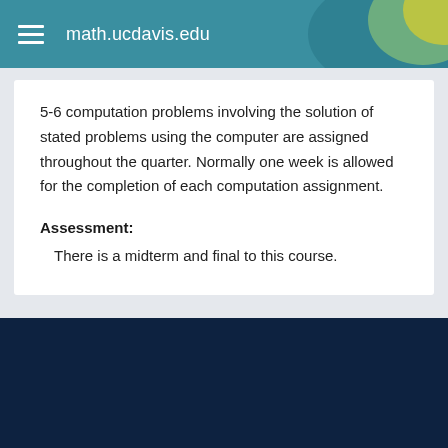math.ucdavis.edu
5-6 computation problems involving the solution of stated problems using the computer are assigned throughout the quarter. Normally one week is allowed for the completion of each computation assignment.
Assessment:
There is a midterm and final to this course.